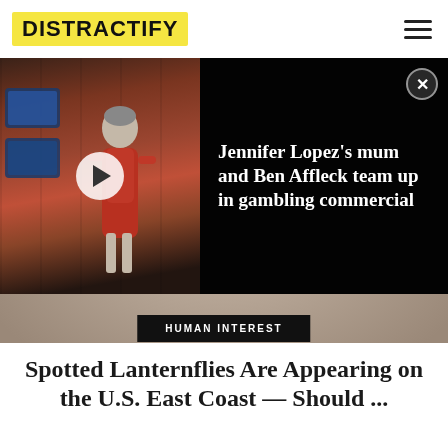DISTRACTIFY
[Figure (screenshot): Video overlay showing a casino scene with a woman in red near slot machines on the left, and on the right a dark panel with white text reading 'Jennifer Lopez's mum and Ben Affleck team up in gambling commercial' with a close button]
[Figure (photo): Close-up photo of a spotted lanternfly insect on a sandy/concrete surface]
HUMAN INTEREST
Spotted Lanternflies Are Appearing on the U.S. East Coast — Should ...